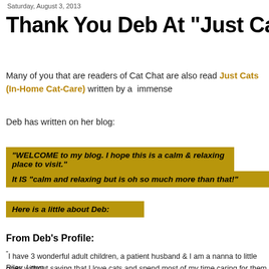Saturday, August 3, 2013
Thank You Deb At "Just Cats (
Many of you that are readers of Cat Chat are also read... Just Cats (In-Home Cat-Care) written by a  immense...
Deb has written on her blog:
"WELCOME to my blog. I hope this is a calm & relaxing place to visit."
It IS "calm and relaxing but is oh so much more than that!"
Here is a little about Deb:
From Deb's Profile:
"I have 3 wonderful adult children, a patient husband & I am a nanna to little Riley. I own...
goes without saying that I love cats and spend most of my time caring for them. I also h...